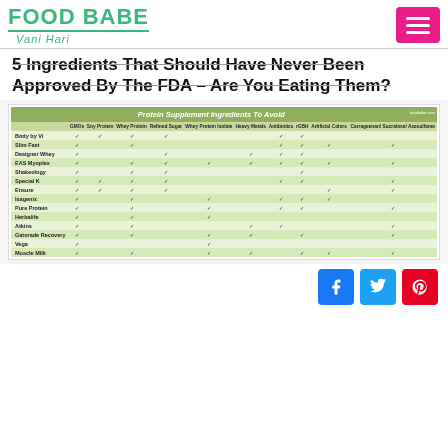FOOD BABE Vani Hari
5 Ingredients That Should Have Never Been Approved By The FDA – Are You Eating Them?
|  | GMOs | Soy Protein | Whey Protein | Refined Sugar | Whey Protein Isolate | Heavy Metals | Antibiotics | rGBH | Artificial Colors | Carrageenan/Sucralose/Acesulfame |
| --- | --- | --- | --- | --- | --- | --- | --- | --- | --- | --- |
| Body by Vi | ✓ | ✓ | ✓ | ✓ |  |  | ✓ | ✓ |  |  |
| Slim Fast | ✓ |  | ✓ |  |  |  | ✓ | ✓ | ✓ | ✓ |
| Designer Whey | ✓ |  |  | ✓ |  | ✓ | ✓ | ✓ |  |  |
| EAS Myoplex | ✓ |  | ✓ | ✓ | ✓ | ✓ | ✓ | ✓ | ✓ | ✓ |
| Shakeology | ✓ |  | ✓ | ✓ |  |  |  | ✓ |  |  |
| Special K | ✓ | ✓ | ✓ | ✓ |  |  | ✓ | ✓ |  | ✓ |
| Ensure | ✓ | ✓ | ✓ | ✓ |  |  |  |  | ✓ | ✓ |
| Isagenix | ✓ |  | ✓ |  | ✓ |  | ✓ | ✓ | ✓ |  |
| Pure Protein | ✓ |  | ✓ |  | ✓ |  | ✓ | ✓ |  | ✓ |
| Herbalife | ✓ |  | ✓ |  | ✓ |  |  |  |  |  |
| Atkins | ✓ |  | ✓ |  |  | ✓ | ✓ |  |  | ✓ |
| Gatorade Recovery | ✓ |  | ✓ |  | ✓ | ✓ |  | ✓ |  | ✓ |
| Vega | ✓ |  |  |  | ✓ |  |  |  |  |  |
| Muscle Milk | ✓ |  | ✓ |  | ✓ | ✓ |  | ✓ | ✓ | ✓ |